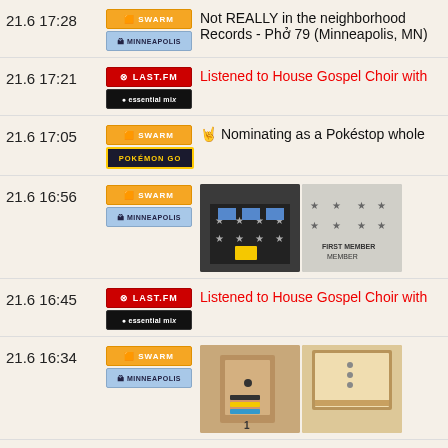21.6 17:28 | SWARM / MINNEAPOLIS | Not REALLY in the neighborhood Records - Phở 79 (Minneapolis, MN)
21.6 17:21 | LAST.FM / essential mix | Listened to House Gospel Choir with
21.6 17:05 | SWARM / POKEMON GO | Nominating as a Pokéstop whole
21.6 16:56 | SWARM / MINNEAPOLIS | [photos]
21.6 16:45 | LAST.FM / essential mix | Listened to House Gospel Choir with
21.6 16:34 | SWARM / MINNEAPOLIS | [photos]
21.6 15:00 | $NLOK | NLOK closing quote: 22.08 ▲0.25 (R